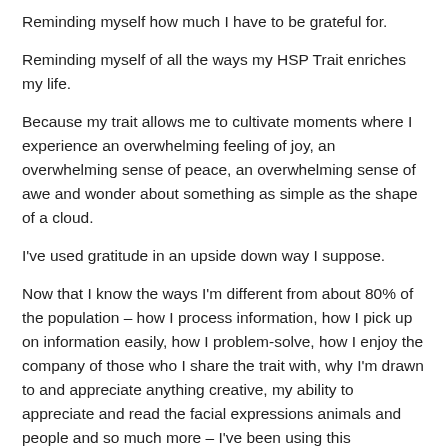Reminding myself how much I have to be grateful for.
Reminding myself of all the ways my HSP Trait enriches my life.
Because my trait allows me to cultivate moments where I experience an overwhelming feeling of joy, an overwhelming sense of peace, an overwhelming sense of awe and wonder about something as simple as the shape of a cloud.
I've used gratitude in an upside down way I suppose.
Now that I know the ways I'm different from about 80% of the population – how I process information, how I pick up on information easily, how I problem-solve, how I enjoy the company of those who I share the trait with, why I'm drawn to and appreciate anything creative, my ability to appreciate and read the facial expressions animals and people and so much more – I've been using this